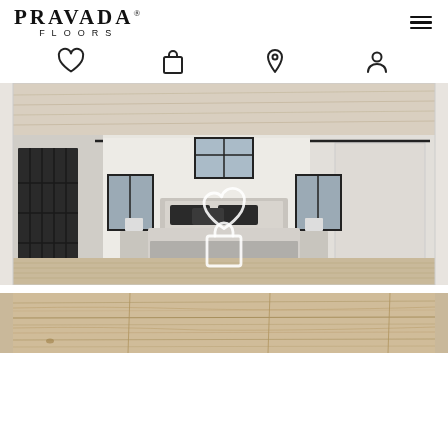[Figure (logo): PRAVADA FLOORS logo with registered trademark symbol]
[Figure (infographic): Navigation icons: hamburger menu, heart/favorites, shopping bag, location pin, user/account]
[Figure (photo): Bedroom interior with light hardwood floors, white walls, white barn doors with black hardware, white bed with dark pillows and gray blanket, black window frames. Overlay shows white heart and shopping bag icons.]
[Figure (photo): Close-up of light oak hardwood flooring planks showing wood grain texture]